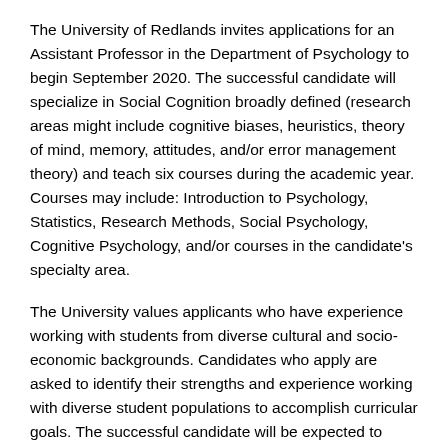The University of Redlands invites applications for an Assistant Professor in the Department of Psychology to begin September 2020. The successful candidate will specialize in Social Cognition broadly defined (research areas might include cognitive biases, heuristics, theory of mind, memory, attitudes, and/or error management theory) and teach six courses during the academic year. Courses may include: Introduction to Psychology, Statistics, Research Methods, Social Psychology, Cognitive Psychology, and/or courses in the candidate's specialty area.
The University values applicants who have experience working with students from diverse cultural and socio-economic backgrounds. Candidates who apply are asked to identify their strengths and experience working with diverse student populations to accomplish curricular goals. The successful candidate will be expected to support the College of Arts and